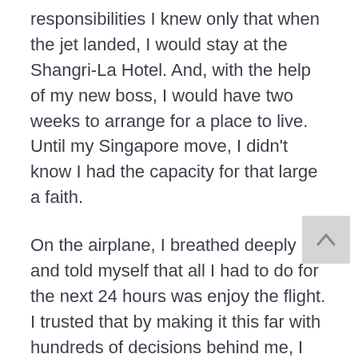responsibilities I knew only that when the jet landed, I would stay at the Shangri-La Hotel. And, with the help of my new boss, I would have two weeks to arrange for a place to live. Until my Singapore move, I didn't know I had the capacity for that large a faith.
On the airplane, I breathed deeply and told myself that all I had to do for the next 24 hours was enjoy the flight. I trusted that by making it this far with hundreds of decisions behind me, I would figure out the rest as it came – one moment at a time.
◇ ◇ ◇
The notion of the perfect time is more